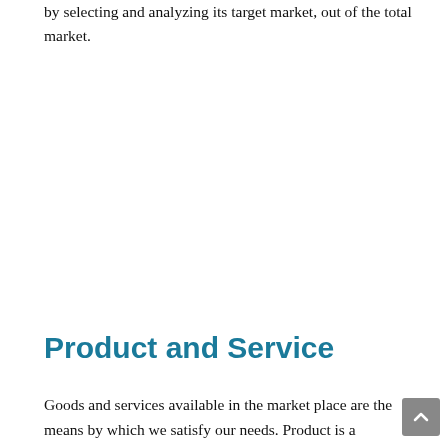by selecting and analyzing its target market, out of the total market.
Product and Service
Goods and services available in the market place are the means by which we satisfy our needs. Product is a comprehensive term that